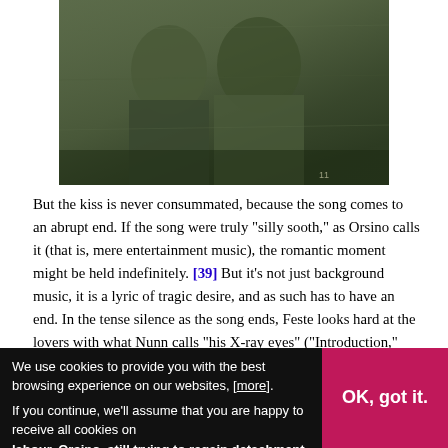[Figure (photo): Dark screenshot or video still showing two figures in dark green/olive clothing, close together, partially obscured.]
But the kiss is never consummated, because the song comes to an abrupt end. If the song were truly "silly sooth," as Orsino calls it (that is, mere entertainment music), the romantic moment might be held indefinitely. [39] But it's not just background music, it is a lyric of tragic desire, and as such has to have an end. In the tense silence as the song ends, Feste looks hard at the lovers with what Nunn calls "his X-ray eyes" ("Introduction," n.p.). Under that gaze, Orsino pulls rank, patronizingly tossing a coin to Feste: "There's for thy pains" ["pains" = labour]. Feste, however, turns Orsino's conventional use of "pains" back on him: "No
We use cookies to provide you with the best browsing experience on our websites, [more].
If you continue, we'll assume that you are happy to receive all cookies on labour. Orsino, still trying to regain detachment,